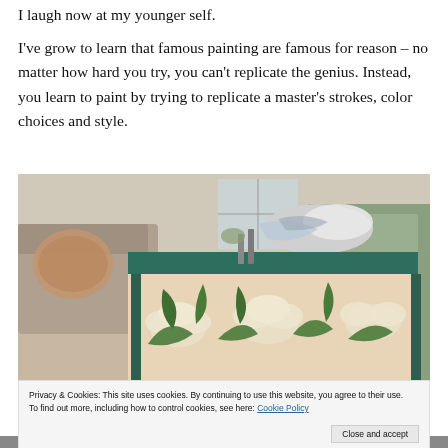I laugh now at my younger self.
I've grow to learn that famous painting are famous for reason – no matter how hard you try, you can't replicate the genius. Instead, you learn to paint by trying to replicate a master's strokes, color choices and style.
[Figure (photo): A painted coffee table with white floral design and green leaves, set in a living room, with art supplies on top.]
Privacy & Cookies: This site uses cookies. By continuing to use this website, you agree to their use.
To find out more, including how to control cookies, see here: Cookie Policy